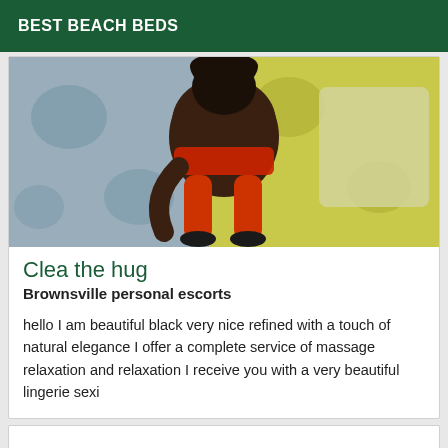BEST BEACH BEDS
[Figure (photo): Person on a bed with yellow and grey floral bedding, wearing red clothing]
Clea the hug
Brownsville personal escorts
hello I am beautiful black very nice refined with a touch of natural elegance I offer a complete service of massage relaxation and relaxation I receive you with a very beautiful lingerie sexi